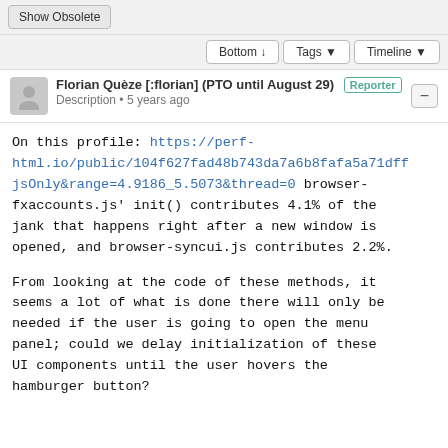Show Obsolete
Bottom ↓  Tags ▼  Timeline ▼
Florian Quèze [:florian] (PTO until August 29) Reporter
Description • 5 years ago
On this profile: https://perf-html.io/public/104f627fad48b743da7a6b8fafa5a71dff...jsOnly&range=4.9186_5.5073&thread=0 browser-fxaccounts.js' init() contributes 4.1% of the jank that happens right after a new window is opened, and browser-syncui.js contributes 2.2%.
From looking at the code of these methods, it seems a lot of what is done there will only be needed if the user is going to open the menu panel; could we delay initialization of these UI components until the user hovers the hamburger button?